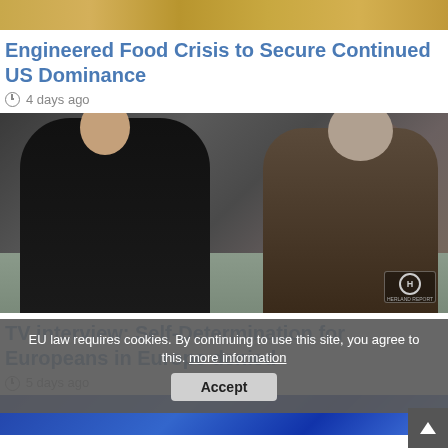[Figure (photo): Decorative golden/wheat textured banner image at top of page]
Engineered Food Crisis to Secure Continued US Dominance
4 days ago
[Figure (photo): TV interview scene showing two people seated on a sofa in conversation, with a Herland Report logo watermark in the bottom right corner]
TV interview: Self-Determination for Europeans in Europe denied
5 days ago
[Figure (photo): Partial image at bottom showing blue-gloved hands]
EU law requires cookies. By continuing to use this site, you agree to this. more information